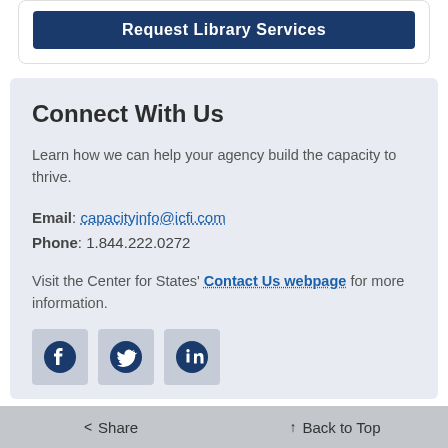[Figure (screenshot): Dark navy blue button labeled 'Request Library Services']
Connect With Us
Learn how we can help your agency build the capacity to thrive.
Email: capacityinfo@icfi.com
Phone: 1.844.222.0272
Visit the Center for States' Contact Us webpage for more information.
[Figure (illustration): Social media icons: Facebook, Twitter, LinkedIn in square containers]
< Share   ↑ Back to Top